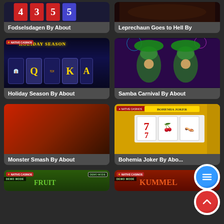[Figure (screenshot): Fodselsdagen slot game thumbnail - dark background with number reels]
Fodselsdagen By About
[Figure (screenshot): Leprechaun Goes to Hell slot game thumbnail - dark orange/brown background]
Leprechaun Goes to Hell By
[Figure (screenshot): Holiday Season slot game - dark blue background with Q, K, A card symbols and HOLIDAY SEASON title, Native Casinos badge]
Holiday Season By About
[Figure (screenshot): Samba Carnival slot game - purple background with two carnival dancers in green feathered headdresses]
Samba Carnival By About
[Figure (screenshot): Monster Smash slot game - solid red gradient background]
Monster Smash By About
[Figure (screenshot): Bohemia Joker slot game - yellow/gold background with 7 and cherry symbols on white reels, Native Casinos badge]
Bohemia Joker By Abo...
[Figure (screenshot): Fruit game thumbnail - green background with Fruit branding and Demo Mode label, Native Casinos badge]
[Figure (screenshot): Kummel game thumbnail - dark red background with Kummel branding and Demo Mode label, Native Casinos badge]